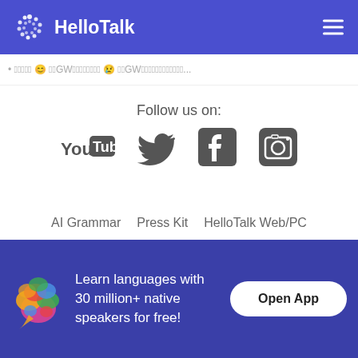HelloTalk
• [emoji text content with GW symbols]...
Follow us on:
[Figure (logo): Social media icons: YouTube, Twitter, Facebook, Instagram]
AI Grammar   Press Kit   HelloTalk Web/PC
Language Partners   Jobs   Blog   About
Learn languages with 30 million+ native speakers for free!
Open App